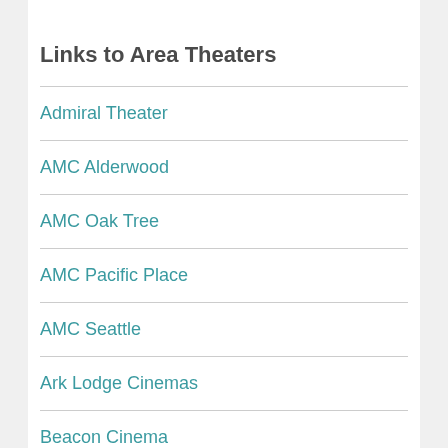Links to Area Theaters
Admiral Theater
AMC Alderwood
AMC Oak Tree
AMC Pacific Place
AMC Seattle
Ark Lodge Cinemas
Beacon Cinema
Central Cinema